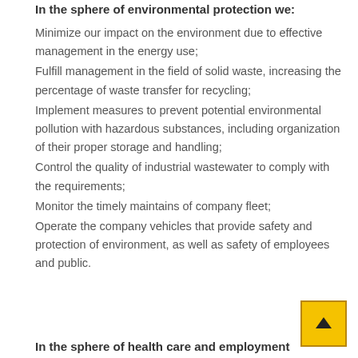In the sphere of environmental protection we:
Minimize our impact on the environment due to effective management in the energy use;
Fulfill management in the field of solid waste, increasing the percentage of waste transfer for recycling;
Implement measures to prevent potential environmental pollution with hazardous substances, including organization of their proper storage and handling;
Control the quality of industrial wastewater to comply with the requirements;
Monitor the timely maintains of company fleet;
Operate the company vehicles that provide safety and protection of environment, as well as safety of employees and public.
In the sphere of health care and employment